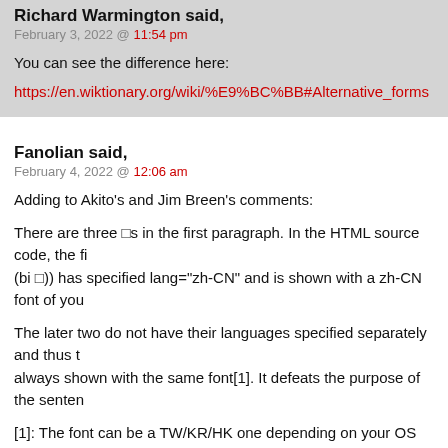Richard Warmington said,
February 3, 2022 @ 11:54 pm
You can see the difference here:
https://en.wiktionary.org/wiki/%E9%BC%BB#Alternative_forms
Fanolian said,
February 4, 2022 @ 12:06 am
Adding to Akito's and Jim Breen's comments:
There are three □s in the first paragraph. In the HTML source code, the fi (bi □)) has specified lang="zh-CN" and is shown with a zh-CN font of you
The later two do not have their languages specified separately and thus t always shown with the same font[1]. It defeats the purpose of the senten
[1]: The font can be a TW/KR/HK one depending on your OS locale and b settings.
other one spoon said,
February 4, 2022 @ 12:22 am
A Chinese teacher once told me that the English "beezer" (British slang f